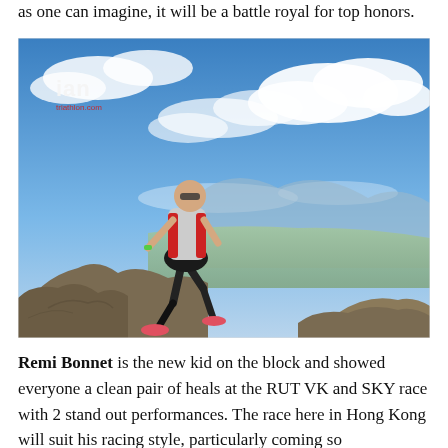as one can imagine, it will be a battle royal for top honors.
[Figure (photo): A male trail runner in motion on a rocky mountain ridge under a dramatic blue sky with clouds. The runner wears a grey/red vest, black shorts, and pink trail shoes. A wide mountain valley stretches out behind him. The photo has an 'ian' watermark in the upper left corner.]
Remi Bonnet is the new kid on the block and showed everyone a clean pair of heals at the RUT VK and SKY race with 2 stand out performances. The race here in Hong Kong will suit his racing style, particularly coming so